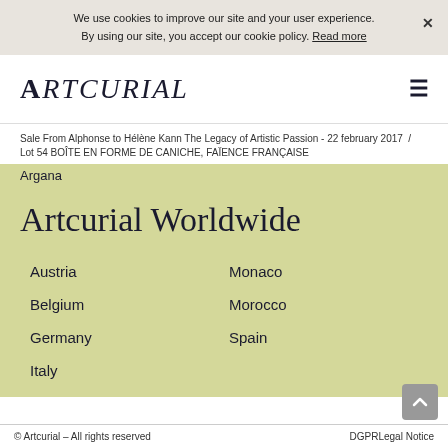We use cookies to improve our site and your user experience. By using our site, you accept our cookie policy. Read more
ARTCURIAL
Sale From Alphonse to Hélène Kann The Legacy of Artistic Passion - 22 february 2017 / Lot 54 BOÎTE EN FORME DE CANICHE, FAÏENCE FRANÇAISE
Argana
Artcurial Worldwide
Austria
Monaco
Belgium
Morocco
Germany
Spain
Italy
© Artcurial – All rights reserved   DGPRLegal Notice